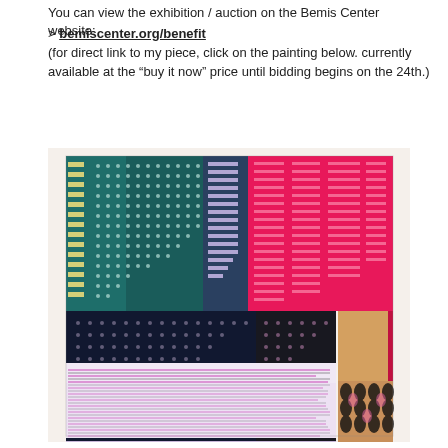You can view the exhibition / auction on the Bemis Center website:
> bemiscenter.org/benefit
(for direct link to my piece, click on the painting below. currently available at the “buy it now” price until bidding begins on the 24th.)
[Figure (photo): Photograph of a colorful, complex textile or mixed-media artwork featuring grids of dots, lines, and oval shapes in teal, dark navy, pink, red, and tan/beige colors, divided into distinct patterned sections.]